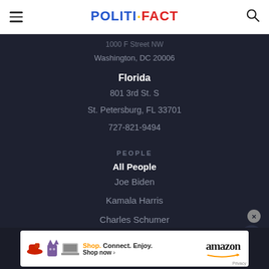POLITIFACT
1000 F Street NW
Washington, DC 20006
Florida
801 3rd St. S
St. Petersburg, FL 33701
727-821-9494
PEOPLE
All People
Joe Biden
Kamala Harris
Charles Schumer
Mitch McConnell